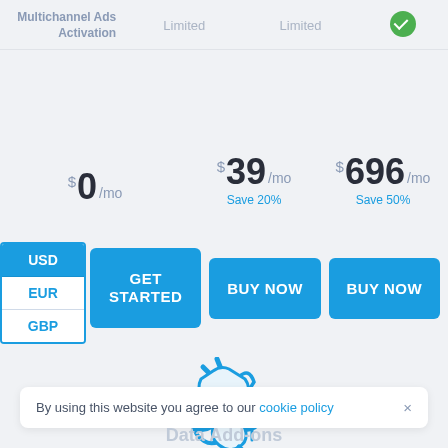| Feature | Col1 | Col2 | Col3 |
| --- | --- | --- | --- |
| Multichannel Ads Activation | Limited | Limited | ✓ |
$0 /mo | $39 /mo Save 20% | $696 /mo Save 50%
USD EUR GBP
GET STARTED | BUY NOW | BUY NOW
[Figure (illustration): Blue plug/connector icon]
By using this website you agree to our cookie policy ×
Data Add-ons